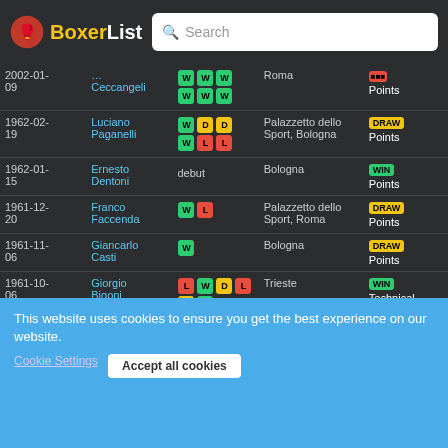BoxerList – Search bar
| Date | Opponent | Results | Venue | Outcome |
| --- | --- | --- | --- | --- |
| 2002-01-09 | …Ceccangeli | W W W W W W | Roma | Points |
| 1962-02-19 | Luciano Paganelli | W D D W L L | Palazzetto dello Sport, Bologna | DRAW Points |
| 1962-01-15 | Ernesto Dentoni | debut | Bologna | WIN Points |
| 1961-12-20 | Franco Faccenda | W L | Palazzetto dello Sport, Roma | DRAW Points |
| 1961-11-06 | Giancarlo Casti | W | Bologna | DRAW Points |
| 1961-10-06 | Giorgio Bigoni | L W D L D W | Trieste | WIN Technical knockout |
This website uses cookies to ensure you get the best experience on our website.